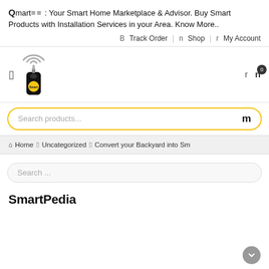Qmart : Your Smart Home Marketplace & Advisor. Buy Smart Products with Installation Services in your Area. Know More..
B Track Order | n Shop | r My Account
[Figure (logo): Smart home marketplace logo with wifi signal icon and yellow key fob device]
Search products... m
Home > Uncategorized > Convert your Backyard into Sm
Search ...
SmartPedia